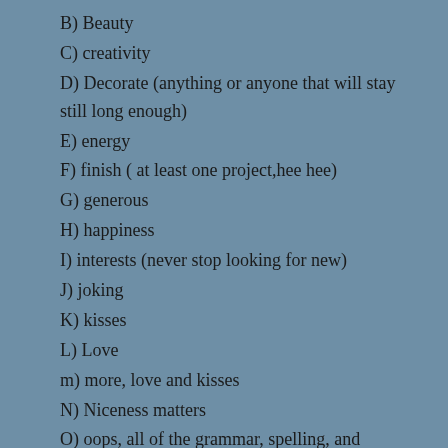B) Beauty
C) creativity
D) Decorate (anything or anyone that will stay still long enough)
E) energy
F) finish ( at least one project,hee hee)
G) generous
H) happiness
I) interests (never stop looking for new)
J) joking
K) kisses
L) Love
m) more, love and kisses
N) Niceness matters
O) oops, all of the grammar, spelling, and punctuation mistakes, and typos, I notice AFTER I press “publish”